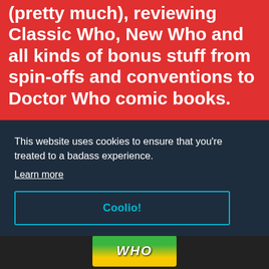(pretty much), reviewing Classic Who, New Who and all kinds of bonus stuff from spin-offs and conventions to Doctor Who comic books.
We last reviewed...
[Figure (screenshot): Thumbnail image of a podcast or media item with a microphone icon in the top-right corner, grey background suggesting a video or audio player still.]
This website uses cookies to ensure that you're treated to a badass experience.
Learn more
Coolio!
[Figure (logo): Partial 'WHO' logo visible at the bottom of the page in green and yellow colours.]